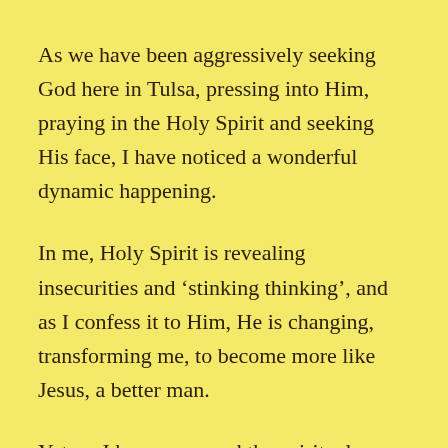As we have been aggressively seeking God here in Tulsa, pressing into Him, praying in the Holy Spirit and seeking His face, I have noticed a wonderful dynamic happening.
In me, Holy Spirit is revealing insecurities and ‘stinking thinking’, and as I confess it to Him, He is changing, transforming me, to become more like Jesus, a better man.
Yet, as I have surveyed the spiritual landscape, I have seen folks ‘blowing up’ in anger,